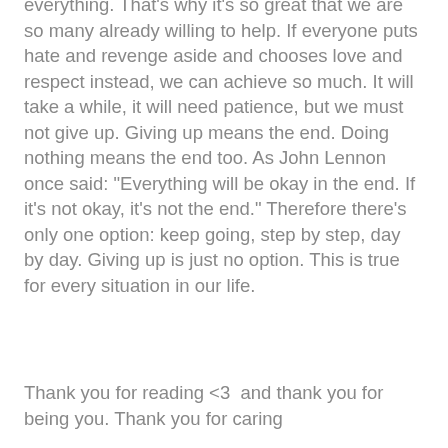everything. That's why it's so great that we are so many already willing to help. If everyone puts hate and revenge aside and chooses love and respect instead, we can achieve so much. It will take a while, it will need patience, but we must not give up. Giving up means the end. Doing nothing means the end too. As John Lennon once said: "Everything will be okay in the end. If it's not okay, it's not the end." Therefore there's only one option: keep going, step by step, day by day. Giving up is just no option. This is true for every situation in our life.
Thank you for reading <3  and thank you for being you. Thank you for caring